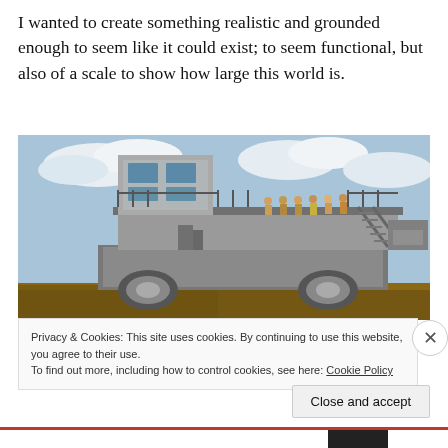I wanted to create something realistic and grounded enough to seem like it could exist; to seem functional, but also of a scale to show how large this world is.
[Figure (photo): A large industrial mining machine or crawler-transporter photographed outdoors. People are visible standing on an upper platform/deck of the massive grey steel structure, which sits on tracked wheels. Blue sky with clouds in background.]
Privacy & Cookies: This site uses cookies. By continuing to use this website, you agree to their use.
To find out more, including how to control cookies, see here: Cookie Policy